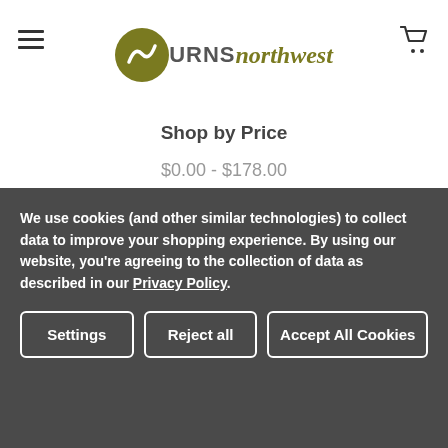URNS northwest
Shop by Price
$0.00 - $178.00
$178.00 - $251.00
$251.00 - $324.00
$324.00 - $397.00
$397.00 - $470.00
We use cookies (and other similar technologies) to collect data to improve your shopping experience. By using our website, you're agreeing to the collection of data as described in our Privacy Policy.
Settings | Reject all | Accept All Cookies